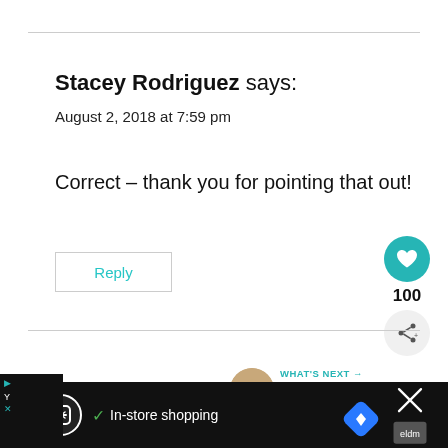Stacey Rodriguez says:
August 2, 2018 at 7:59 pm
Correct – thank you for pointing that out!
Reply
100
WHAT'S NEXT → Healthy Chocolate...
Leave a Reply
[Figure (screenshot): Advertisement bar at the bottom showing a shopping app ad with 'In-store shopping' text, checkmark, circular logo, diamond navigation icon, and X close button.]